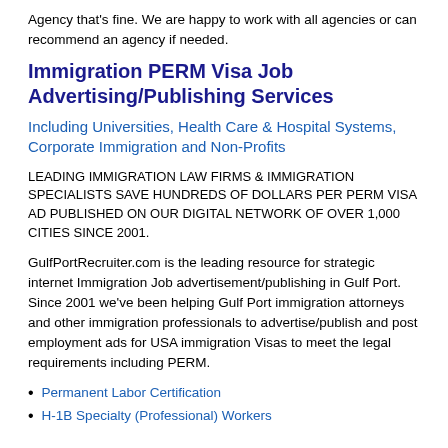Agency that's fine. We are happy to work with all agencies or can recommend an agency if needed.
Immigration PERM Visa Job Advertising/Publishing Services
Including Universities, Health Care & Hospital Systems, Corporate Immigration and Non-Profits
LEADING IMMIGRATION LAW FIRMS & IMMIGRATION SPECIALISTS SAVE HUNDREDS OF DOLLARS PER PERM VISA AD PUBLISHED ON OUR DIGITAL NETWORK OF OVER 1,000 CITIES SINCE 2001.
GulfPortRecruiter.com is the leading resource for strategic internet Immigration Job advertisement/publishing in Gulf Port. Since 2001 we've been helping Gulf Port immigration attorneys and other immigration professionals to advertise/publish and post employment ads for USA immigration Visas to meet the legal requirements including PERM.
Permanent Labor Certification
H-1B Specialty (Professional) Workers